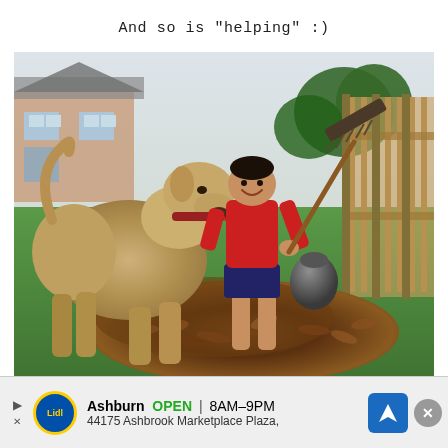And so is "helping" :)
[Figure (photo): A large tan/fawn dog standing on a grass lawn, sniffing a large pile of fallen leaves. A smiling boy in a red shirt is standing behind the leaf pile holding a rake. A wooden fence and brick house are visible in the background. A black trash bag sits near the fence.]
[Figure (other): Advertisement banner: Lidl store ad showing Ashburn location, OPEN 8AM-9PM, address 44175 Ashbrook Marketplace Plaza, with navigation arrow icon and close button.]